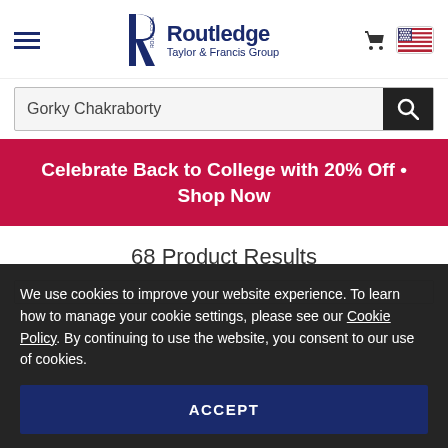[Figure (logo): Routledge Taylor & Francis Group logo with stylized R mark]
Gorky Chakraborty
Celebrate Back to College with 20% Off • Shop Now
68 Product Results
We use cookies to improve your website experience. To learn how to manage your cookie settings, please see our Cookie Policy. By continuing to use the website, you consent to our use of cookies.
ACCEPT